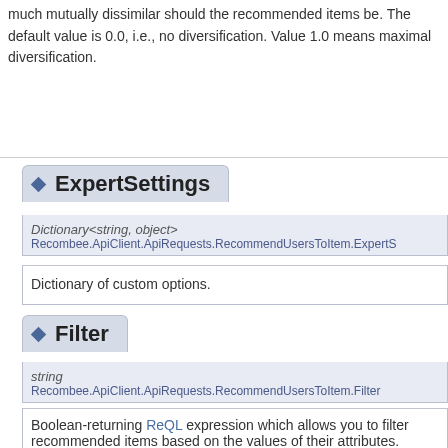much mutually dissimilar should the recommended items be. The default value is 0.0, i.e., no diversification. Value 1.0 means maximal diversification.
ExpertSettings
Dictionary<string, object>
Recombee.ApiClient.ApiRequests.RecommendUsersToItem.ExpertSettings
Dictionary of custom options.
Filter
string
Recombee.ApiClient.ApiRequests.RecommendUsersToItem.Filter
Boolean-returning ReQL expression which allows you to filter recommended items based on the values of their attributes. Filters